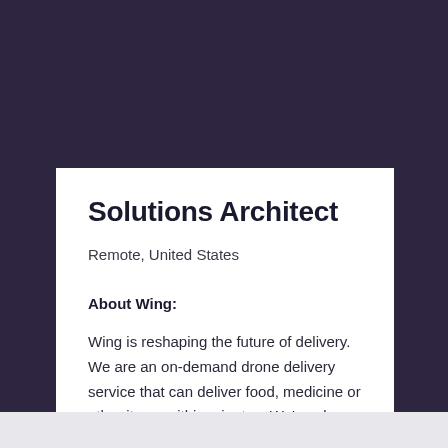Solutions Architect
Remote, United States
About Wing:
Wing is reshaping the future of delivery. We are an on-demand drone delivery service that can deliver food, medicine or other items within minutes. We've also developed an uncrewed traffic management platform to safely route drones through the sky. Our service is faster, safer and produces far less pollution than traditional delivery. Originally created in 2012, within th...